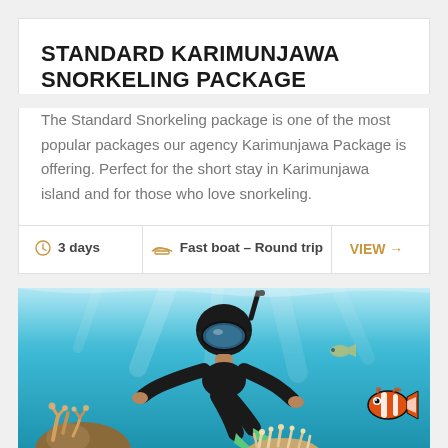STANDARD KARIMUNJAWA SNORKELING PACKAGE
The Standard Snorkeling package is one of the most popular packages our agency Karimunjawa Package is offering. Perfect for the short stay in Karimunjawa island and for those who love snorkeling.
| 3 days | Fast boat – Round trip | VIEW → |
[Figure (photo): Underwater photo of a snorkeler with diving mask and fins swimming near coral reef and a clownfish]